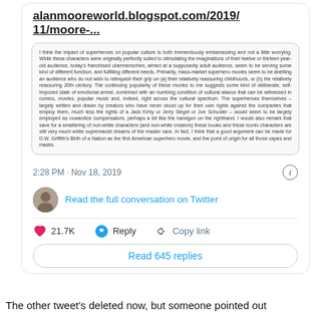alanmooreworld.blogspot.com/2019/11/moore-...
I think the impact of superheroes on popular culture is both tremendously embarrassing and not a little worrying. While these characters were originally perfectly suited to stimulating the imaginations of their twelve or thirteen year-old audience, today's franchised ubermenschen, aimed at a supposedly adult audience, seem to be serving some kind of different function, and fulfilling different needs. Primarily, mass-market superhero movies seem to be abetting an audience who do not wish to relinquish their grip on (a) their relatively reassuring childhoods, or (b) the relatively reassuring 20th century. The continuing popularity of these movies to me suggests some kind of deliberate, self-imposed state of emotional arrest, combined with an numbing condition of cultural atavus that can be witnessed in comics, movies, popular music and, indeed, right across the cultural spectrum. The superheroes themselves – largely written and drawn by creators who have never stood up for their own rights against the companies that employ them, much less the rights of a Jack Kirby or Jerry Siegel or Joe Schuster – would seem to be largely employed as cowardice compensators, perhaps a bit like the handgun on the righthand. I would also remark that save for a smattering of non-white characters (and non-white creators) these books and these iconic characters are still very much white supremacist dreams of the master race. In fact, I think that a good argument can be made for D.W. Griffith's Birth of a Nation as the first American superhero movie, and the point of origin for all those capes and masks.
2:28 PM · Nov 18, 2019
Read the full conversation on Twitter
21.7K
Reply
Copy link
Read 645 replies
The other tweet's deleted now, but someone pointed out